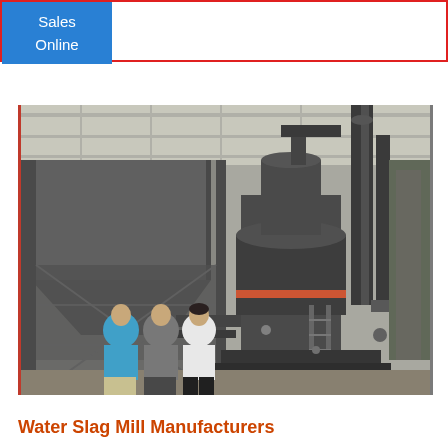Sales Online
[Figure (photo): Industrial facility interior showing large dark-colored grinding mill equipment (vertical roller mill / water slag mill) with pipes, hoppers, and conveyor structures. Three workers in casual clothing stand in foreground inspecting or operating the machinery inside a large warehouse/factory building.]
Water Slag Mill Manufacturers